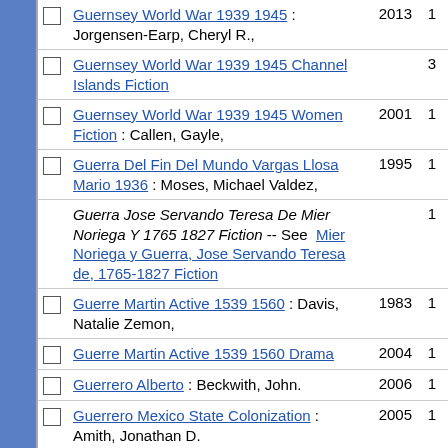|  | Entry | Year | Count |
| --- | --- | --- | --- |
| ☐ | Guernsey World War 1939 1945 : Jorgensen-Earp, Cheryl R., | 2013 | 1 |
| ☐ | Guernsey World War 1939 1945 Channel Islands Fiction |  | 3 |
| ☐ | Guernsey World War 1939 1945 Women Fiction : Callen, Gayle, | 2001 | 1 |
| ☐ | Guerra Del Fin Del Mundo Vargas Llosa Mario 1936 : Moses, Michael Valdez, | 1995 | 1 |
|  | Guerra Jose Servando Teresa De Mier Noriega Y 1765 1827 Fiction -- See Mier Noriega y Guerra, Jose Servando Teresa de, 1765-1827 Fiction |  | 1 |
| ☐ | Guerre Martin Active 1539 1560 : Davis, Natalie Zemon, | 1983 | 1 |
| ☐ | Guerre Martin Active 1539 1560 Drama | 2004 | 1 |
| ☐ | Guerrero Alberto : Beckwith, John. | 2006 | 1 |
| ☐ | Guerrero Mexico State Colonization : Amith, Jonathan D. | 2005 | 1 |